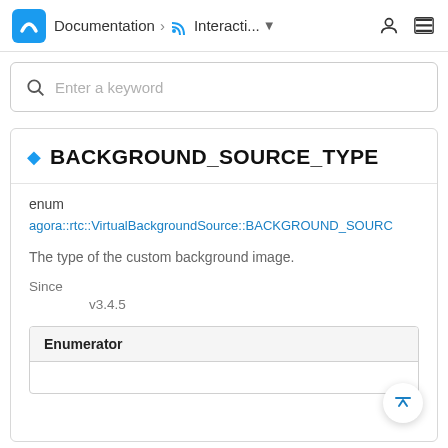Documentation > Interacti... ▼
[Figure (screenshot): Search input field with placeholder text 'Enter a keyword']
BACKGROUND_SOURCE_TYPE
enum
agora::rtc::VirtualBackgroundSource::BACKGROUND_SOURCE...
The type of the custom background image.
Since
v3.4.5
| Enumerator |
| --- |
|  |